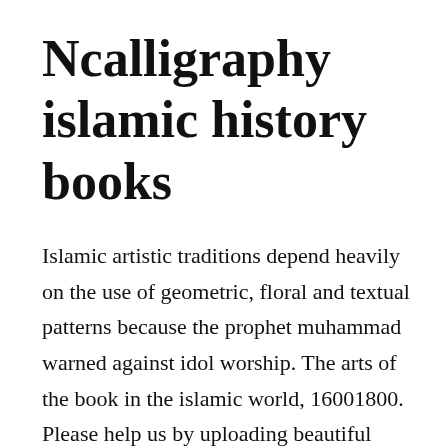Ncalligraphy islamic history books
Islamic artistic traditions depend heavily on the use of geometric, floral and textual patterns because the prophet muhammad warned against idol worship. The arts of the book in the islamic world, 16001800. Please help us by uploading beautiful traditional pieces of islamic calligraphy we prefer